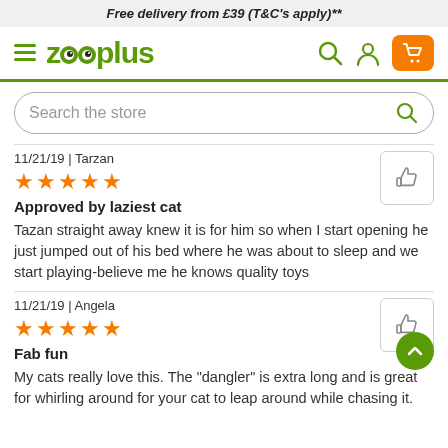Free delivery from £39 (T&C's apply)**
[Figure (logo): zooplus logo with hamburger menu, search icon, account icon, and cart button]
[Figure (screenshot): Search bar with placeholder 'Search the store']
11/21/19 | Tarzan
[Figure (other): 5 orange stars rating]
Approved by laziest cat
Tazan straight away knew it is for him so when I start opening he just jumped out of his bed where he was about to sleep and we start playing-believe me he knows quality toys
11/21/19 | Angela
[Figure (other): 5 orange stars rating]
Fab fun
My cats really love this. The "dangler" is extra long and is great for whirling around for your cat to leap around while chasing it.